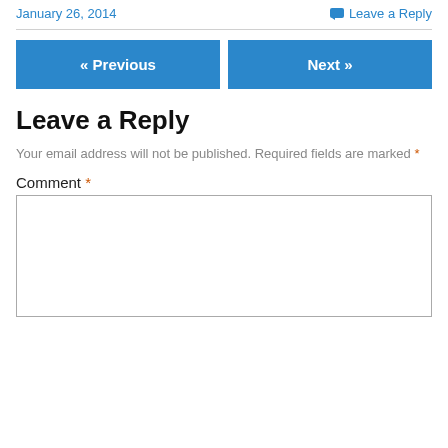January 26, 2014
Leave a Reply
« Previous
Next »
Leave a Reply
Your email address will not be published. Required fields are marked *
Comment *